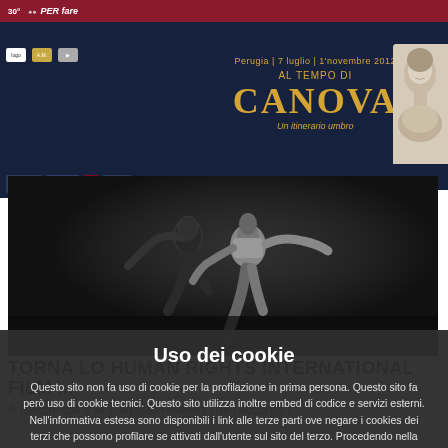30° [logo] | PER fare
[Figure (screenshot): Al Tempo di CANOVA exhibition banner with Perugia dates 7 luglio - 1 novembre 2012, gold text on dark navy background, with classical Roman bust on right]
[Figure (photo): Black and white photograph of two dancers in motion against a dark background]
TORNA LO HUMAN RIGHTS INTERNATIONAL FILM ...
A Baschi dal 4 al 7 agosto l'evento che racconta i
Uso dei cookie
Questo sito non fa uso di cookie per la profilazione in prima persona. Questo sito fa però uso di cookie tecnici. Questo sito utilizza inoltre embed di codice e servizi esterni. Nell'informativa estesa sono disponibili i link alle terze parti ove negare i cookies dei terzi che possono profilare se attivati dall'utente sul sito del terzo. Procedendo nella navigazione o cliccando su "Accetto" si acconsente all'uso dei cookie.
Policy
Accetto